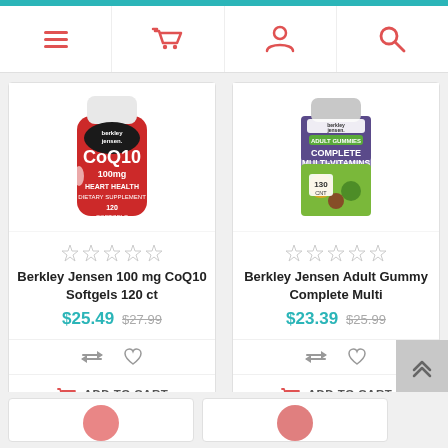[Figure (screenshot): E-commerce website navigation bar with teal top accent and icons: hamburger menu, shopping basket, user profile, search magnifying glass]
[Figure (photo): Berkley Jensen CoQ10 100mg Heart Health Dietary Supplement 120 Softgels red bottle]
Berkley Jensen 100 mg CoQ10 Softgels 120 ct
$25.49  $27.99
ADD TO CART
[Figure (photo): Berkley Jensen Adult Gummies Complete Multi-Vitamins purple and green bottle]
Berkley Jensen Adult Gummy Complete Multi
$23.39  $25.99
ADD TO CART